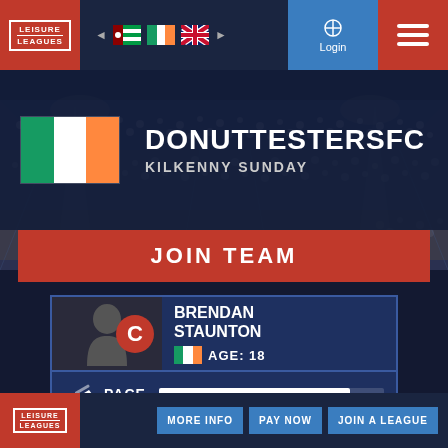Leisure Leagues — Navigation with Login and Menu
DONUTTESTERSFC
KILKENNY SUNDAY
JOIN TEAM
BRENDAN STAUNTON — AGE: 18 — Captain (C)
PACE
MORE INFO | PAY NOW | JOIN A LEAGUE